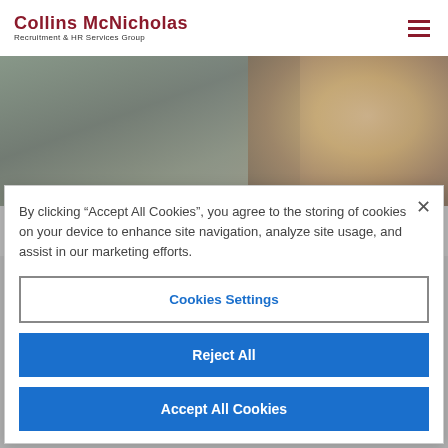Collins McNicholas Recruitment & HR Services Group
[Figure (photo): Blurred background photo showing a woman smiling in an office environment with a bulletin board visible]
By clicking “Accept All Cookies”, you agree to the storing of cookies on your device to enhance site navigation, analyze site usage, and assist in our marketing efforts.
Cookies Settings
Reject All
Accept All Cookies